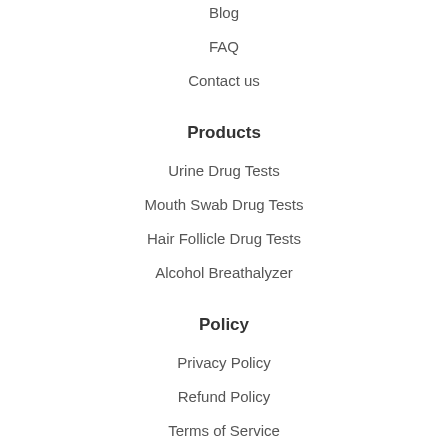Blog
FAQ
Contact us
Products
Urine Drug Tests
Mouth Swab Drug Tests
Hair Follicle Drug Tests
Alcohol Breathalyzer
Policy
Privacy Policy
Refund Policy
Terms of Service